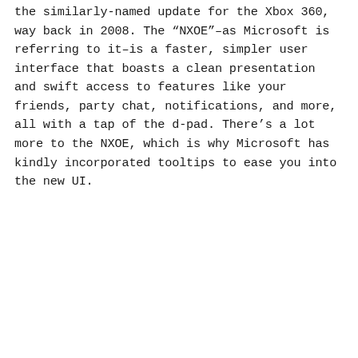the similarly-named update for the Xbox 360, way back in 2008. The “NXOE”–as Microsoft is referring to it–is a faster, simpler user interface that boasts a clean presentation and swift access to features like your friends, party chat, notifications, and more, all with a tap of the d-pad. There’s a lot more to the NXOE, which is why Microsoft has kindly incorporated tooltips to ease you into the new UI.